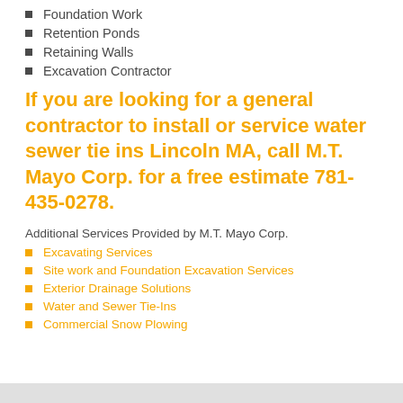Foundation Work
Retention Ponds
Retaining Walls
Excavation Contractor
If you are looking for a general contractor to install or service water sewer tie ins Lincoln MA, call M.T. Mayo Corp. for a free estimate 781-435-0278.
Additional Services Provided by M.T. Mayo Corp.
Excavating Services
Site work and Foundation Excavation Services
Exterior Drainage Solutions
Water and Sewer Tie-Ins
Commercial Snow Plowing